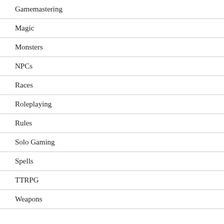Gamemastering
Magic
Monsters
NPCs
Races
Roleplaying
Rules
Solo Gaming
Spells
TTRPG
Weapons